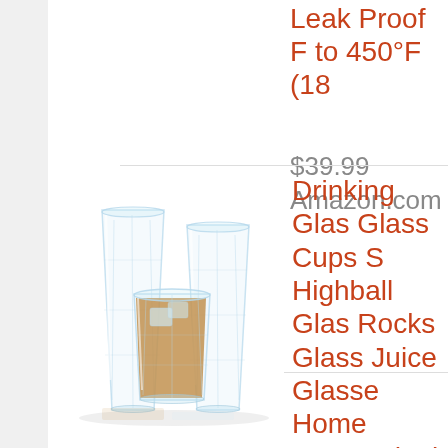[Figure (photo): Product listing page showing drinking glasses - two tall highball glasses and one short rocks glass with amber liquid and ice, all with textured faceted surface. The image shows a cropped e-commerce product page (likely Amazon).]
Leak Proof F... to 450°F (18...
$39.99
Amazon.com
Drinking Glas... Glass Cups S... Highball Glas... Rocks Glass... Juice Glasse... Home Essen... Ideal for Wat... cocktail. Dish...